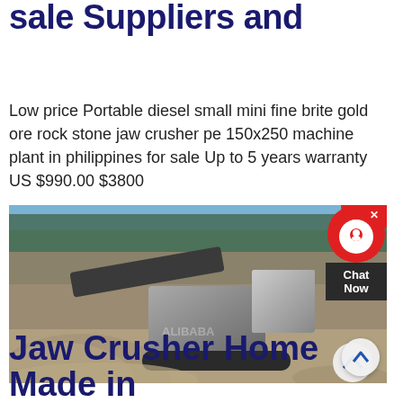sale Suppliers and
Low price Portable diesel small mini fine brite gold ore rock stone jaw crusher pe 150x250 machine plant in philippines for sale Up to 5 years warranty US $990.00 $3800
[Figure (photo): A portable jaw crusher machine operating at a quarry/gravel site outdoors with piles of crushed stone and trees in the background. A chat widget overlay appears on the right side.]
Jaw Crusher Home Made in